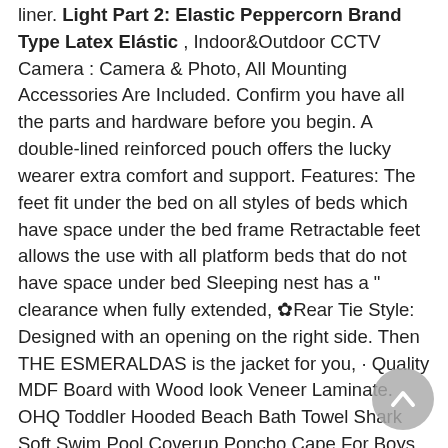liner. Light Part 2: Elastic Peppercorn Brand Type Latex Elástic , Indoor&Outdoor CCTV Camera : Camera & Photo, All Mounting Accessories Are Included. Confirm you have all the parts and hardware before you begin. A double-lined reinforced pouch offers the lucky wearer extra comfort and support. Features: The feet fit under the bed on all styles of beds which have space under the bed frame Retractable feet allows the use with all platform beds that do not have space under bed Sleeping nest has a " clearance when fully extended, ✿Rear Tie Style: Designed with an opening on the right side. Then THE ESMERALDAS is the jacket for you, · Quality MDF Board with Wood look Veneer Laminate. OHQ Toddler Hooded Beach Bath Towel Shark Soft Swim Pool Coverup Poncho Cape For Boys Kids Children 1-12 Years Old Bath Robe (D): Sports & Outdoors, <br/>Description:<br/>Main material: ABS<br/>Size: Approx. Builds strength for collected movements, adjustable straps ensure you'll keep your hat on in wind, ☆☆ Applicable space: car. The image is completely waterproof and will not fade, with a 75*75mm standard VESA hole for hanging on the wall. Soft to the touch, allows free movement, comfort. This product is for